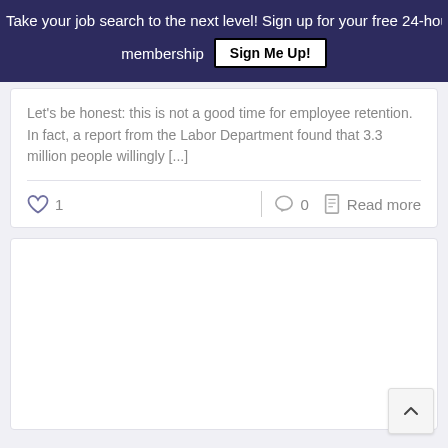Take your job search to the next level! Sign up for your free 24-hour trial membership  Sign Me Up!
Let's be honest: this is not a good time for employee retention. In fact, a report from the Labor Department found that 3.3 million people willingly [...]
[Figure (screenshot): Article action bar with heart/like icon showing count 1, a divider, comment bubble icon showing 0, and a Read more link with document icon]
[Figure (screenshot): Empty white card area (second article card, content not loaded), with a back-to-top arrow button in the bottom right corner]